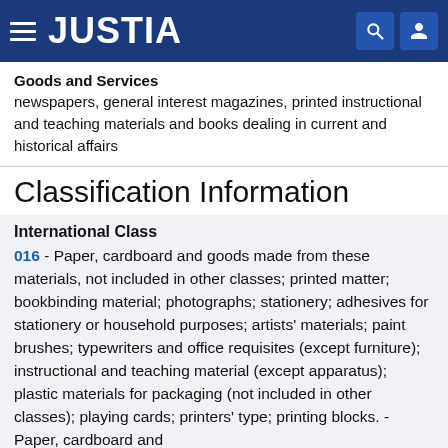JUSTIA
Goods and Services
newspapers, general interest magazines, printed instructional and teaching materials and books dealing in current and historical affairs
Classification Information
International Class
016 - Paper, cardboard and goods made from these materials, not included in other classes; printed matter; bookbinding material; photographs; stationery; adhesives for stationery or household purposes; artists' materials; paint brushes; typewriters and office requisites (except furniture); instructional and teaching material (except apparatus); plastic materials for packaging (not included in other classes); playing cards; printers' type; printing blocks. - Paper, cardboard and